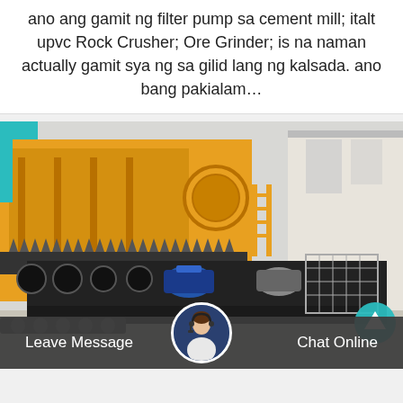ano ang gamit ng filter pump sa cement mill; italt upvc Rock Crusher; Ore Grinder; is na naman actually gamit sya ng sa gilid lang ng kalsada. ano bang pakialam…
[Figure (photo): Industrial ore grinder / rock crusher machine photographed in a factory yard. The machine is large, black and yellow colored, with visible motors, rollers, and mechanical components. A yellow crane/loader is visible in the background.]
Leave Message   Chat Online